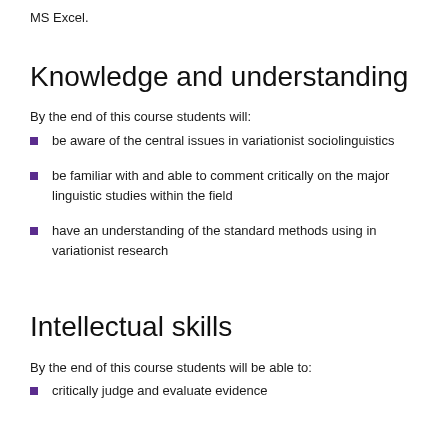MS Excel.
Knowledge and understanding
By the end of this course students will:
be aware of the central issues in variationist sociolinguistics
be familiar with and able to comment critically on the major linguistic studies within the field
have an understanding of the standard methods using in variationist research
Intellectual skills
By the end of this course students will be able to:
critically judge and evaluate evidence